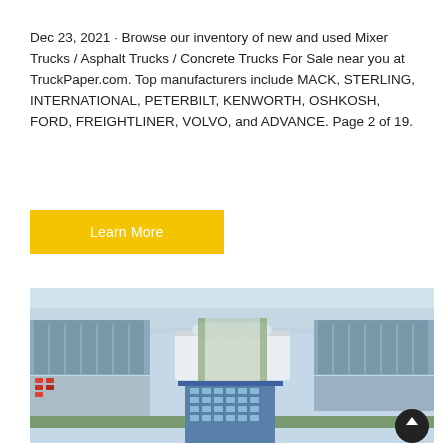Dec 23, 2021 · Browse our inventory of new and used Mixer Trucks / Asphalt Trucks / Concrete Trucks For Sale near you at TruckPaper.com. Top manufacturers include MACK, STERLING, INTERNATIONAL, PETERBILT, KENWORTH, OSHKOSH, FORD, FREIGHTLINER, VOLVO, and ADVANCE. Page 2 of 19.
Learn More
[Figure (photo): Aerial view of a large industrial complex or manufacturing facility with multiple large warehouse/factory buildings with blue roofs, a central white tent structure, rows of trees lining access roads, parking areas with vehicles, and a prominent multi-story blue glass office building in the foreground.]